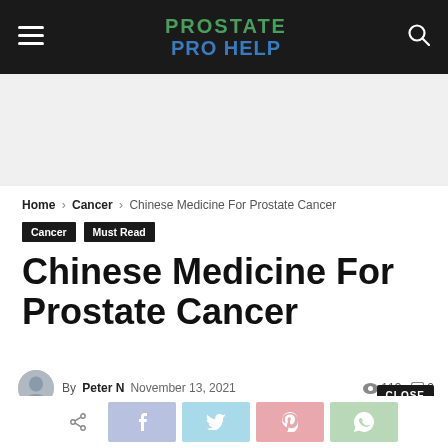PROSTATE PRO HELP
[Figure (other): Advertisement placeholder area (light gray background)]
Home › Cancer › Chinese Medicine For Prostate Cancer
Cancer
Must Read
Chinese Medicine For Prostate Cancer
By Peter N  November 13, 2021  113 views  0 comments
[Figure (other): Social share buttons: share icon, Facebook, Twitter, Pinterest, WhatsApp]